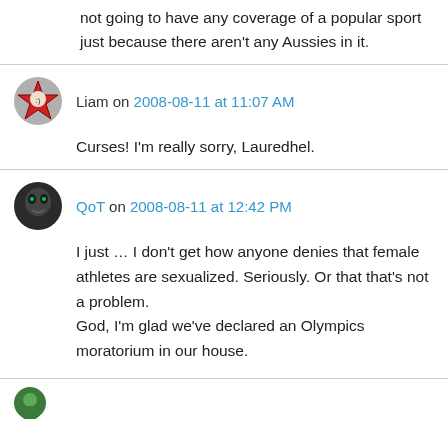not going to have any coverage of a popular sport just because there aren't any Aussies in it.
Liam on 2008-08-11 at 11:07 AM
Curses! I'm really sorry, Lauredhel.
QoT on 2008-08-11 at 12:42 PM
I just … I don't get how anyone denies that female athletes are sexualized. Seriously. Or that that's not a problem.
God, I'm glad we've declared an Olympics moratorium in our house.